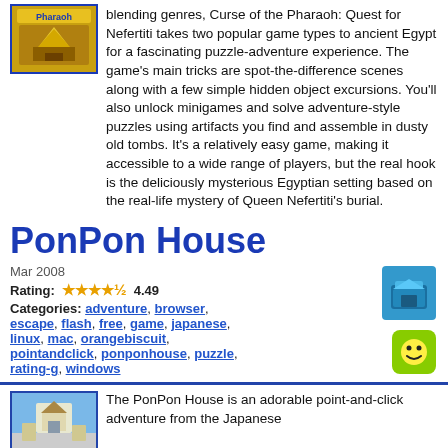[Figure (illustration): Game cover thumbnail for Curse of the Pharaoh with yellow/gold color and pharaoh imagery]
blending genres, Curse of the Pharaoh: Quest for Nefertiti takes two popular game types to ancient Egypt for a fascinating puzzle-adventure experience. The game's main tricks are spot-the-difference scenes along with a few simple hidden object excursions. You'll also unlock minigames and solve adventure-style puzzles using artifacts you find and assemble in dusty old tombs. It's a relatively easy game, making it accessible to a wide range of players, but the real hook is the deliciously mysterious Egyptian setting based on the real-life mystery of Queen Nefertiti's burial.
PonPon House
Mar 2008
Rating: 4.49
Categories: adventure, browser, escape, flash, free, game, japanese, linux, mac, orangebiscuit, pointandclick, ponponhouse, puzzle, rating-g, windows
[Figure (illustration): Blue 3D box/package icon]
[Figure (illustration): Green rounded square icon with a smiley face]
[Figure (photo): Thumbnail screenshot of PonPon House game showing a blue sky building]
The PonPon House is an adorable point-and-click adventure from the Japanese